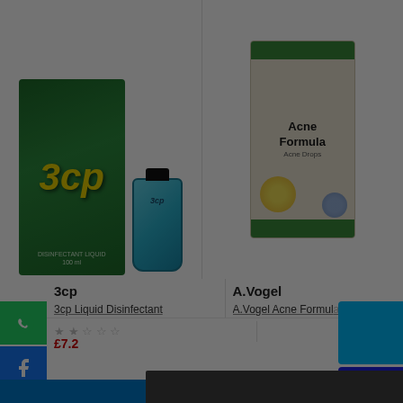[Figure (photo): Product image of 3cp Liquid Disinfectant - green box and blue bottle]
[Figure (photo): Product image of A.Vogel Acne Formula Acne Drops - beige box with green strips and yellow flower]
3cp
A.Vogel
3cp Liquid Disinfectant
A.Vogel Acne Formul...
★★☆☆☆
£7.2
DON'T MISS OUT
Get 15% off your first order when you sign
Email address
GET 15% OFF
+ foogrime